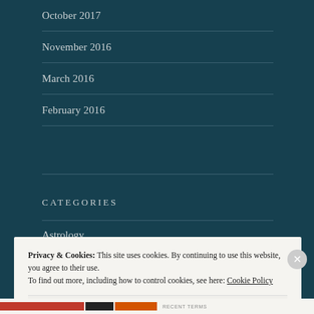October 2017
November 2016
March 2016
February 2016
CATEGORIES
Astrology
Hermetic magia
Privacy & Cookies: This site uses cookies. By continuing to use this website, you agree to their use.
To find out more, including how to control cookies, see here: Cookie Policy
Close and accept